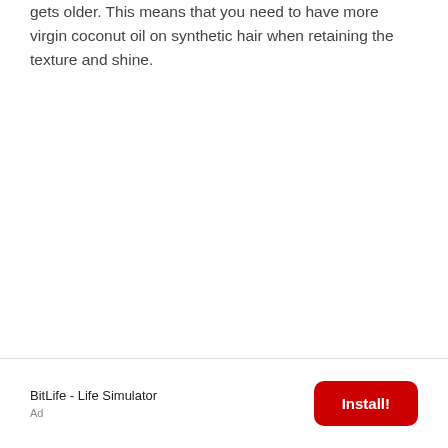gets older. This means that you need to have more virgin coconut oil on synthetic hair when retaining the texture and shine.
[Figure (other): Advertisement banner for BitLife - Life Simulator app with Install button]